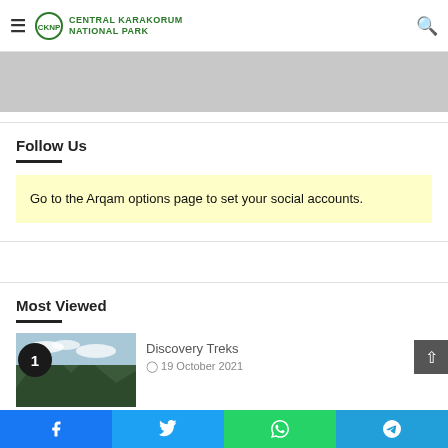Central Karakorum National Park — navigation header with hamburger menu and search icon
[Figure (photo): Gray placeholder image / banner area]
Follow Us
Go to the Arqam options page to set your social accounts.
Most Viewed
1  Discovery Treks  19 October 2021
Social share bar: Facebook, Twitter, WhatsApp, Telegram